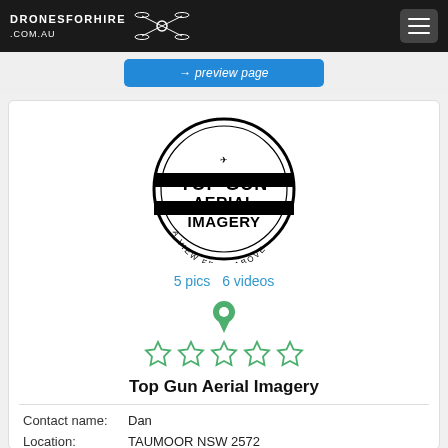DRONESFORHIRE.COM.AU
preview page
[Figure (logo): Top Gun Aerial Imagery circular logo with drone icon and text 'A VIEW FROM ABOVE']
5 pics   6 videos
[Figure (infographic): Green map pin icon above 5 empty green star rating icons]
Top Gun Aerial Imagery
Contact name:   Dan
Location:   TAUMOOR NSW 2572